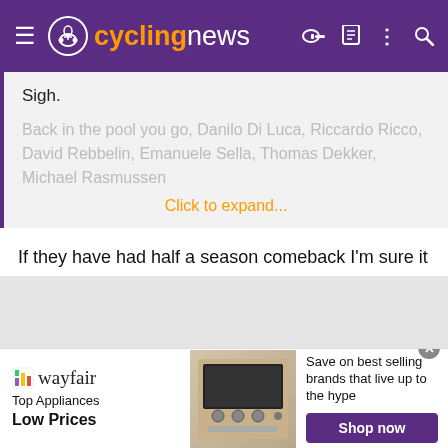cyclingnews
Sigh.
Back in the pool you go, Danilo Di Luca, Riccardo Ricco, David Rebbelin, Emanuele Sella, Thomas Dekker, Michael Rasmussen
Click to expand...
If they have had half a season comeback I'm sure it would be ok. But imagine if Pellizotti was 60 points, he would be in every single team.
On my first go I managed to get 30 riders at just over 8,500, so it shouldn't be too hard cutting the additional 1,000 off.
[Figure (other): Wayfair advertisement banner: Top Appliances Low Prices, Save on best selling brands that live up to the hype, Shop now button]